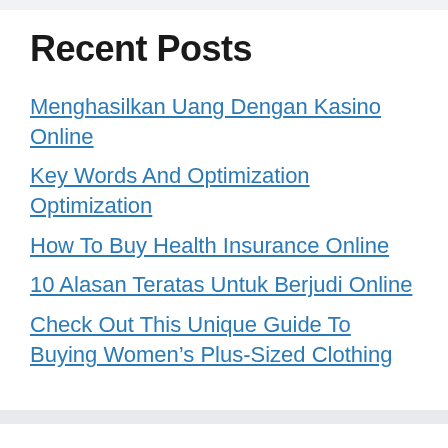Recent Posts
Menghasilkan Uang Dengan Kasino Online
Key Words And Optimization Optimization
How To Buy Health Insurance Online
10 Alasan Teratas Untuk Berjudi Online
Check Out This Unique Guide To Buying Women’s Plus-Sized Clothing
Recent Comments
No comments to show.